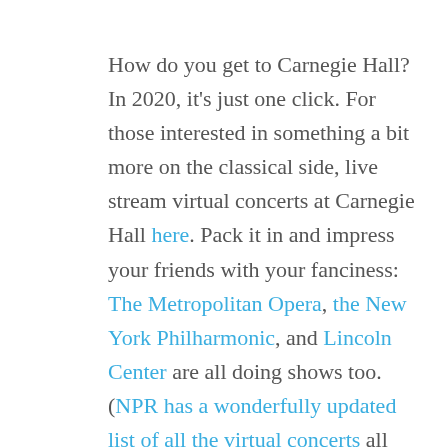How do you get to Carnegie Hall? In 2020, it's just one click. For those interested in something a bit more on the classical side, live stream virtual concerts at Carnegie Hall here. Pack it in and impress your friends with your fanciness: The Metropolitan Opera, the New York Philharmonic, and Lincoln Center are all doing shows too. (NPR has a wonderfully updated list of all the virtual concerts all over the US that's worth checking out.)